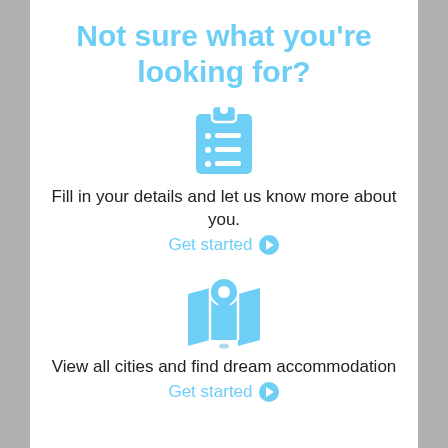Not sure what you're looking for?
[Figure (illustration): Clipboard with checklist icon in light blue]
Fill in your details and let us know more about you.
Get started →
[Figure (illustration): Map with location pin icon in light blue]
View all cities and find dream accommodation
Get started →